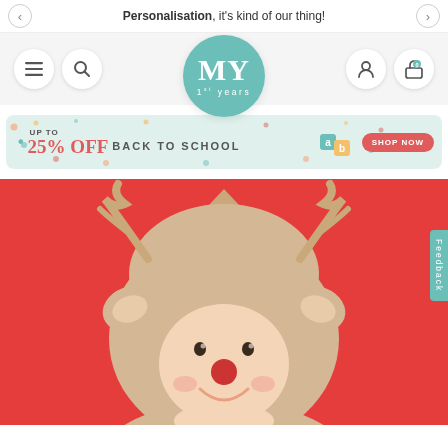Personalisation, it's kind of our thing!
[Figure (logo): MY 1st Years circular teal logo]
[Figure (infographic): Back to School promo banner: UP TO 25% OFF BACK TO SCHOOL with SHOP NOW button]
[Figure (photo): Baby smiling wearing a beige reindeer hooded towel with red nose, on a red background]